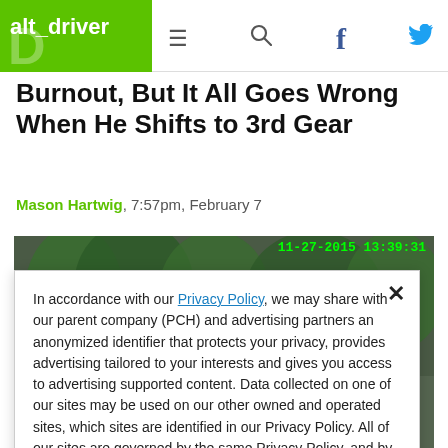alt_driver
Burnout, But It All Goes Wrong When He Shifts to 3rd Gear
Mason Hartwig, 7:57pm, February 7
[Figure (screenshot): Video screenshot with green timestamp overlay reading 11-27-2015 13:39:31, showing outdoor scene with trees and a car]
In accordance with our Privacy Policy, we may share with our parent company (PCH) and advertising partners an anonymized identifier that protects your privacy, provides advertising tailored to your interests and gives you access to advertising supported content. Data collected on one of our sites may be used on our other owned and operated sites, which sites are identified in our Privacy Policy. All of our sites are governed by the same Privacy Policy, and by proceeding to access this site, you are consenting to that Privacy Policy.